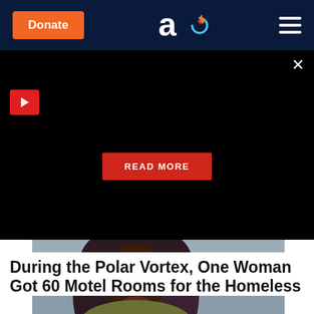Donate | [Logo] | Menu
[Figure (screenshot): Black ad/video banner area with red play button, close X button, and a red READ MORE button centered on the overlay]
[Figure (photo): News video thumbnail showing a Black woman with long wavy hair and a green knit scarf, outdoors in winter. CBS 2 logo and timestamp 6:06 -5° visible in lower right.]
During the Polar Vortex, One Woman Got 60 Motel Rooms for the Homeless